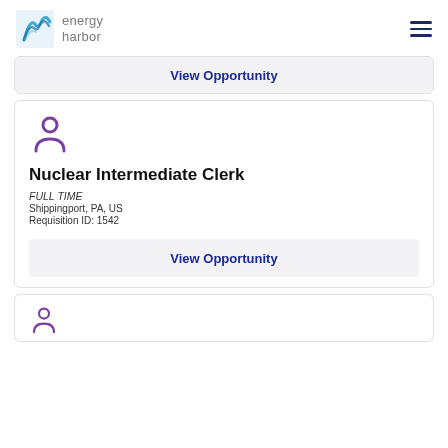energy harbor
View Opportunity
[Figure (illustration): Purple person/user icon]
Nuclear Intermediate Clerk
FULL TIME
Shippingport, PA, US
Requisition ID: 1542
View Opportunity
[Figure (illustration): Purple person/user icon (partially visible, bottom of page)]